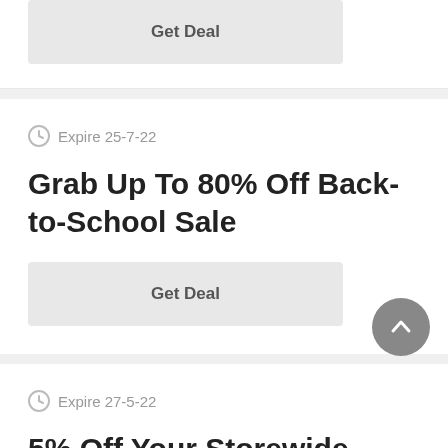Get Deal
Expire 25-7-22
Grab Up To 80% Off Back-to-School Sale
Get Deal
Expire 27-5-22
5% Off Your Storewide Order